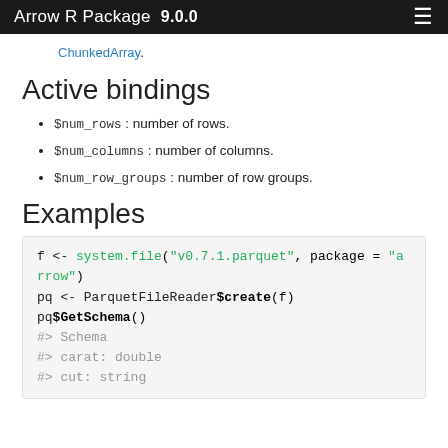Arrow R Package  9.0.0
ChunkedArray.
Active bindings
$num_rows : number of rows.
$num_columns : number of columns.
$num_row_groups : number of row groups.
Examples
f <- system.file("v0.7.1.parquet", package = "arrow")
pq <- ParquetFileReader$create(f)
pq$GetSchema()
#> Schema
#> carat: double
#> cut: string